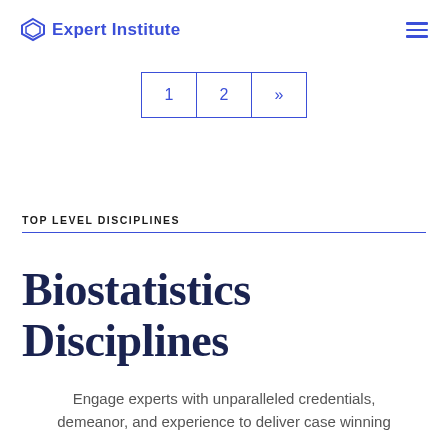Expert Institute
[Figure (other): Pagination control with pages 1, 2 and next arrow]
TOP LEVEL DISCIPLINES
Biostatistics Disciplines
Engage experts with unparalleled credentials, demeanor, and experience to deliver case winning